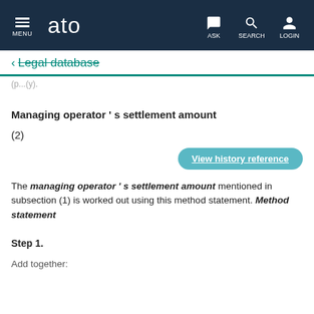MENU | ato | ASK | SEARCH | LOGIN
← Legal database
Managing operator 's settlement amount
(2)
View history reference
The managing operator 's settlement amount mentioned in subsection (1) is worked out using this method statement. Method statement
Step 1.
Add together: